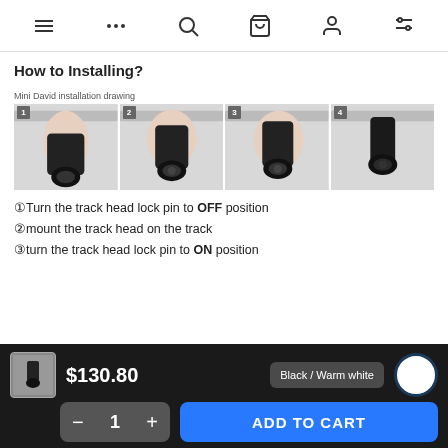Navigation bar with menu, more, search, cart, profile, filter icons
How to Installing?
[Figure (illustration): Four-step installation diagram for Mini David track light: Step 1 - inserting track head, Step 2 - positioning, Step 3 - twisting, Step 4 - installed position. Label reads: Mini David installation drawing]
①Turn the track head lock pin to OFF position
②mount the track head on the track
③turn the track head lock pin to ON position
$130.80
Black / Warm white
1
ADD TO CART